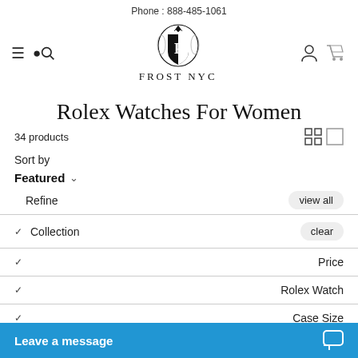Phone : 888-485-1061
[Figure (logo): Frost NYC logo with shield crest and text FROST NYC]
Rolex Watches For Women
34 products
Sort by
Featured
Refine
view all
Collection
clear
Price
Rolex Watch
Case Size
Leave a message